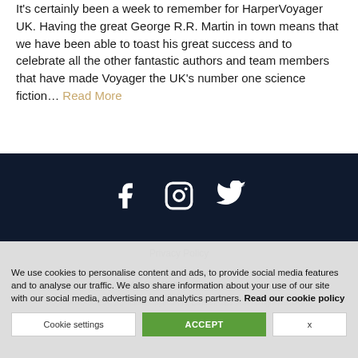It's certainly been a week to remember for HarperVoyager UK. Having the great George R.R. Martin in town means that we have been able to toast his great success and to celebrate all the other fantastic authors and team members that have made Voyager the UK's number one science fiction… Read More
[Figure (other): Social media icons: Facebook, Instagram, Twitter on dark navy background]
Privacy Policy
© HarperCollins Publishers
Registered Address: 1 London Bridge Street, London, SE1 9GF. All rights reserved.
We use cookies to personalise content and ads, to provide social media features and to analyse our traffic. We also share information about your use of our site with our social media, advertising and analytics partners. Read our cookie policy